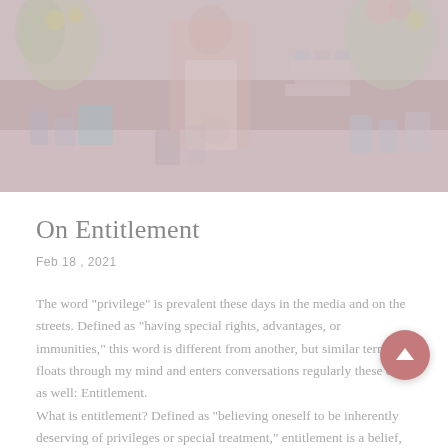[Figure (photo): A muted, faded photograph of a market or flower stand scene. Shows a person behind a table with jars, flowers in vases, and various goods arranged on display. Colors are desaturated pinks, greens, and blues.]
On Entitlement
Feb 18 , 2021
The word "privilege" is prevalent these days in the media and on the streets. Defined as "having special rights, advantages, or immunities," this word is different from another, but similar term that floats through my mind and enters conversations regularly these days as well: Entitlement.
What is entitlement? Defined as "believing oneself to be inherently deserving of privileges or special treatment," entitlement is a belief, while not exactly the holding of particular privileges. It can be argued, and in fact is, by Leah Guzman on Quora, that "entitlement" can have positive or negative